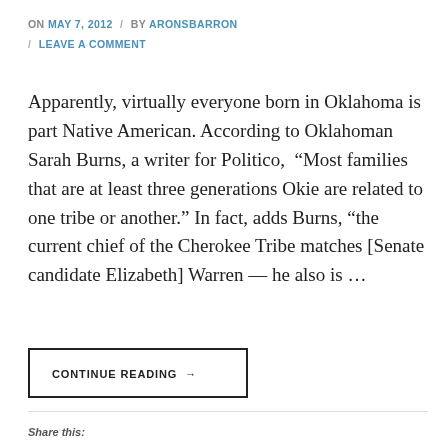ON MAY 7, 2012 / BY ARONSBARRON / LEAVE A COMMENT
Apparently, virtually everyone born in Oklahoma is part Native American. According to Oklahoman Sarah Burns, a writer for Politico, “Most families that are at least three generations Okie are related to one tribe or another.” In fact, adds Burns, “the current chief of the Cherokee Tribe matches [Senate candidate Elizabeth] Warren — he also is …
CONTINUE READING →
Share this: